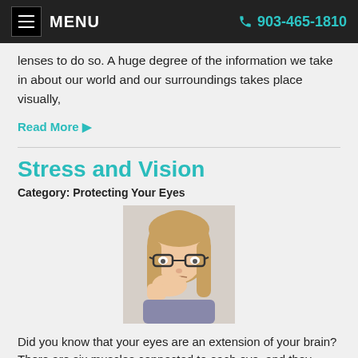MENU  903-465-1810
lenses to do so. A huge degree of the information we take in about our world and our surroundings takes place visually,
Read More ▶
Stress and Vision
Category: Protecting Your Eyes
[Figure (photo): Young girl with glasses resting her chin on her hand, looking stressed or bored]
Did you know that your eyes are an extension of your brain? There are six muscles connected to each eye, and they receive signals from the brain. These signals direct the eyes